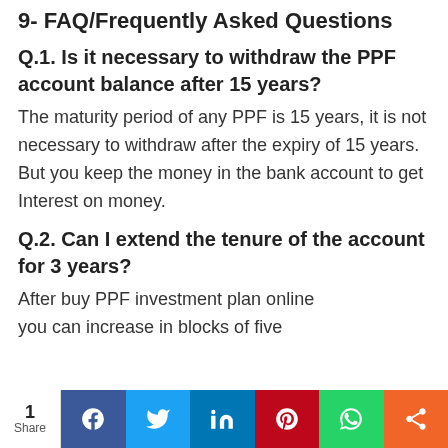9- FAQ/Frequently Asked Questions
Q.1. Is it necessary to withdraw the PPF account balance after 15 years?
The maturity period of any PPF is 15 years, it is not necessary to withdraw after the expiry of 15 years. But you keep the money in the bank account to get Interest on money.
Q.2. Can I extend the tenure of the account for 3 years?
After buy PPF investment plan online you can increase in blocks of five